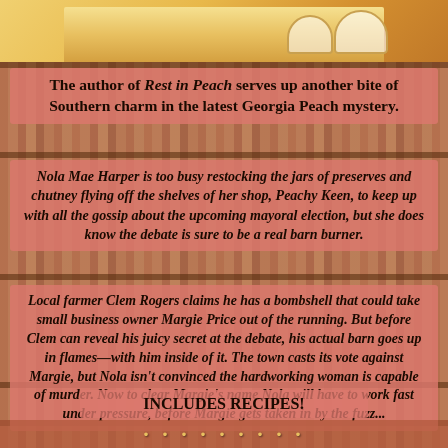[Figure (illustration): Top portion of a book cover showing illustrated tea cups and food items on a yellow/warm background, cropped at top]
The author of Rest in Peach serves up another bite of Southern charm in the latest Georgia Peach mystery.
Nola Mae Harper is too busy restocking the jars of preserves and chutney flying off the shelves of her shop, Peachy Keen, to keep up with all the gossip about the upcoming mayoral election, but she does know the debate is sure to be a real barn burner.
Local farmer Clem Rogers claims he has a bombshell that could take small business owner Margie Price out of the running. But before Clem can reveal his juicy secret at the debate, his actual barn goes up in flames—with him inside of it. The town casts its vote against Margie, but Nola isn't convinced the hardworking woman is capable of murder. Now to clear Margie's name Nola will have to work fast under pressure, before Margie gets taken in by the fuzz...
INCLUDES RECIPES!
· · · · · · · · ·